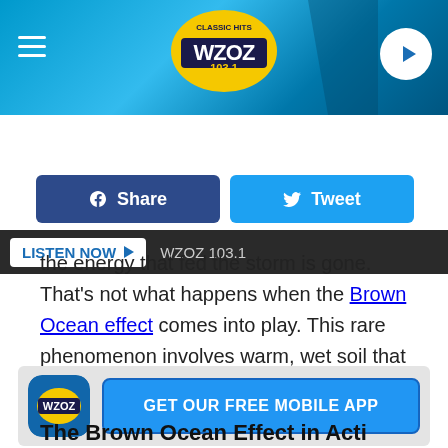[Figure (screenshot): WZOZ 103.1 Classic Hits radio station header banner with logo, hamburger menu, and play button]
LISTEN NOW  WZOZ 103.1
[Figure (other): Facebook Share and Twitter Tweet social sharing buttons]
the energy that fed the storm is gone. That's not what happens when the Brown Ocean effect comes into play. This rare phenomenon involves warm, wet soil that continues to feed a storm over land.
[Figure (other): GET OUR FREE MOBILE APP promotional banner with WZOZ app icon]
The Brown Ocean Effect in Acti…